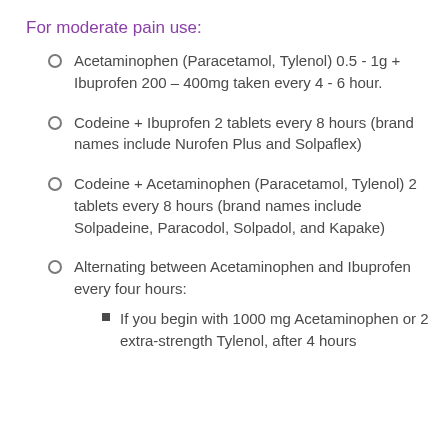For moderate pain use:
Acetaminophen (Paracetamol, Tylenol) 0.5 - 1g + Ibuprofen 200 – 400mg taken every 4 - 6 hour.
Codeine + Ibuprofen 2 tablets every 8 hours (brand names include Nurofen Plus and Solpaflex)
Codeine + Acetaminophen (Paracetamol, Tylenol) 2 tablets every 8 hours (brand names include Solpadeine, Paracodol, Solpadol, and Kapake)
Alternating between Acetaminophen and Ibuprofen every four hours:
If you begin with 1000 mg Acetaminophen or 2 extra-strength Tylenol, after 4 hours